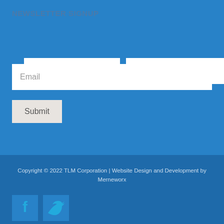NEWSLETTER SIGNUP
First Name
Last Name
Email
Submit
Copyright © 2022 TLM Corporation | Website Design and Development by Merneworx